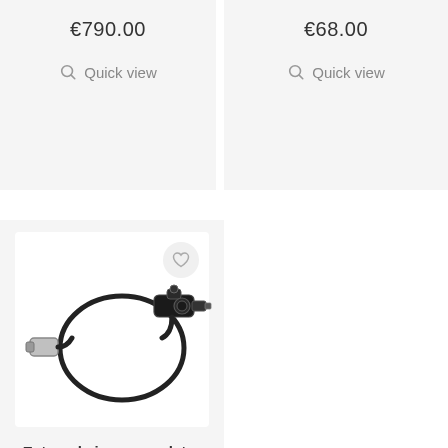€790.00
Quick view
€68.00
Quick view
[Figure (photo): External airgun regulator with hose and fittings on white background]
External airgun regulator
€140.00